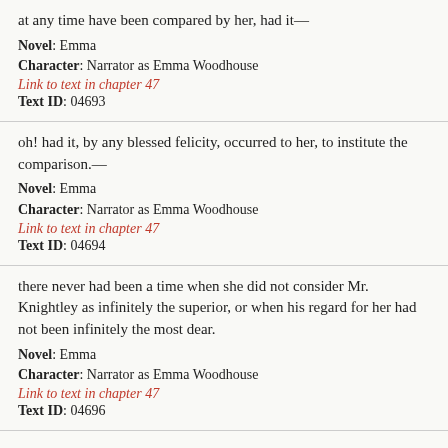at any time have been compared by her, had it—
Novel: Emma
Character: Narrator as Emma Woodhouse
Link to text in chapter 47
Text ID: 04693
oh! had it, by any blessed felicity, occurred to her, to institute the comparison.—
Novel: Emma
Character: Narrator as Emma Woodhouse
Link to text in chapter 47
Text ID: 04694
there never had been a time when she did not consider Mr. Knightley as infinitely the superior, or when his regard for her had not been infinitely the most dear.
Novel: Emma
Character: Narrator as Emma Woodhouse
Link to text in chapter 47
Text ID: 04696